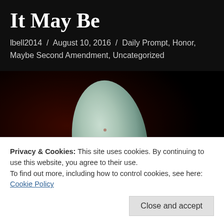It May Be
lbell2014 / August 10, 2016 / Daily Prompt, Honor, Maybe Second Amendment, Uncategorized
[Figure (photo): Close-up photograph of a pale blue-green arrowhead or flint stone against a dark background, with a reddish-brown strip at the bottom.]
Privacy & Cookies: This site uses cookies. By continuing to use this website, you agree to their use.
To find out more, including how to control cookies, see here: Cookie Policy
[Close and accept]